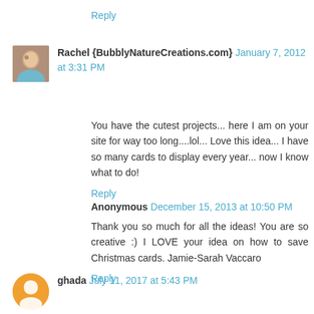Reply
Rachel {BubblyNatureCreations.com} January 7, 2012 at 3:31 PM
You have the cutest projects... here I am on your site for way too long....lol... Love this idea... I have so many cards to display every year... now I know what to do!
Reply
Anonymous December 15, 2013 at 10:50 PM
Thank you so much for all the ideas! You are so creative :) I LOVE your idea on how to save Christmas cards. Jamie-Sarah Vaccaro
Reply
ghada July 11, 2017 at 5:43 PM